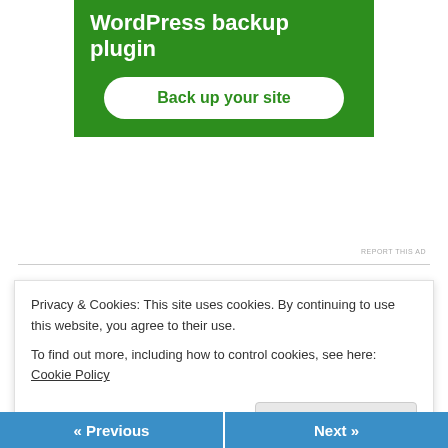[Figure (screenshot): WordPress backup plugin advertisement banner with green background, white bold text reading 'WordPress backup plugin', and a white rounded button with green text 'Back up your site']
REPORT THIS AD
Share this:
Twitter
Facebook
[Figure (screenshot): Like button with blue star and word Like, followed by three user avatar/icon images]
Privacy & Cookies: This site uses cookies. By continuing to use this website, you agree to their use.
To find out more, including how to control cookies, see here: Cookie Policy
Close and accept
« Previous
Next »